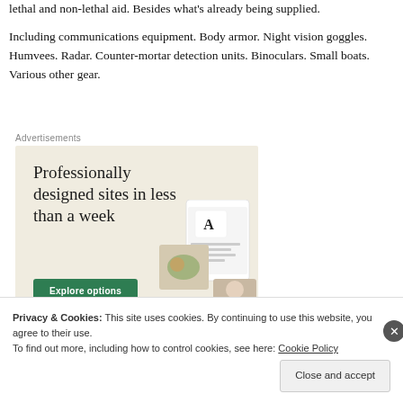lethal and non-lethal aid. Besides what's already being supplied.
Including communications equipment. Body armor. Night vision goggles. Humvees. Radar. Counter-mortar detection units. Binoculars. Small boats. Various other gear.
Advertisements
[Figure (other): Advertisement for website building service. Beige background with text 'Professionally designed sites in less than a week' and a green 'Explore options' button. Right side shows mockup screenshots of websites.]
Privacy & Cookies: This site uses cookies. By continuing to use this website, you agree to their use. To find out more, including how to control cookies, see here: Cookie Policy
Close and accept